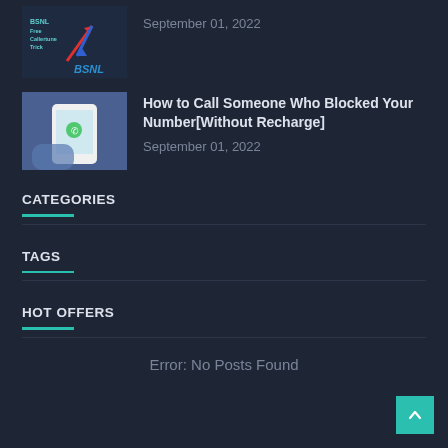[Figure (screenshot): BSNL Free Callertune Trick thumbnail with BSNL logo and arrows]
September 01, 2022
[Figure (photo): Hand holding smartphone thumbnail]
How to Call Someone Who Blocked Your Number[Without Recharge]
September 01, 2022
CATEGORIES
TAGS
HOT OFFERS
Error: No Posts Found